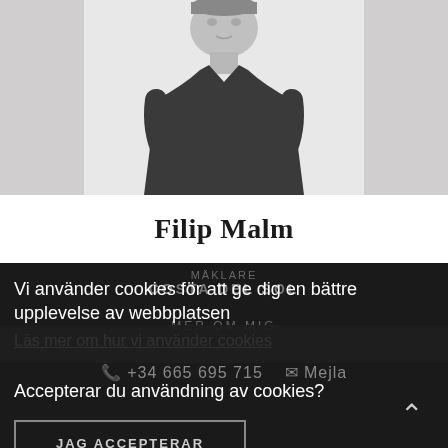[Figure (photo): Black and white portrait photo of a man in a dark suit with arms crossed, cropped at the shoulders/upper body, against a white background.]
Filip Malm
MÄKLARE
COSTA DEL SOL
MER OM MIG
+34 665 695 715   Mejla
Vi använder cookies för att ge dig en bättre upplevelse av webbplatsen
Läs mer om hur vi använder cookies
Accepterar du användning av cookies?
JAG ACCEPTERAR